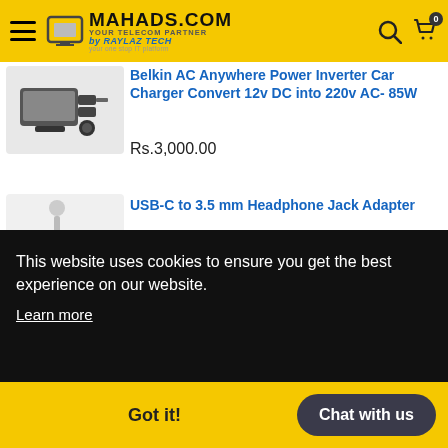[Figure (screenshot): Mahads.com website header with hamburger menu, logo, search icon, cart icon with 0 badge on yellow background]
Belkin AC Anywhere Power Inverter Car Charger Convert 12v DC into 220v AC- 85W
Rs.3,000.00
USB-C to 3.5 mm Headphone Jack Adapter
Top
This website uses cookies to ensure you get the best experience on our website.
Learn more
Got it!
Chat with us